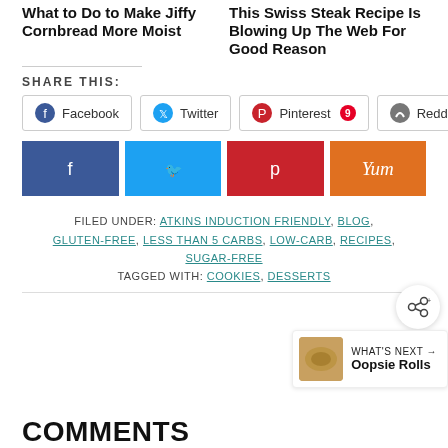What to Do to Make Jiffy Cornbread More Moist
This Swiss Steak Recipe Is Blowing Up The Web For Good Reason
SHARE THIS:
Facebook  Twitter  Pinterest 9  Reddit
[Figure (infographic): Social share icon buttons: Facebook (dark blue), Twitter (light blue), Pinterest (red), Yum (orange)]
FILED UNDER: ATKINS INDUCTION FRIENDLY, BLOG, GLUTEN-FREE, LESS THAN 5 CARBS, LOW-CARB, RECIPES, SUGAR-FREE
TAGGED WITH: COOKIES, DESSERTS
WHAT'S NEXT → Oopsie Rolls
COMMENTS